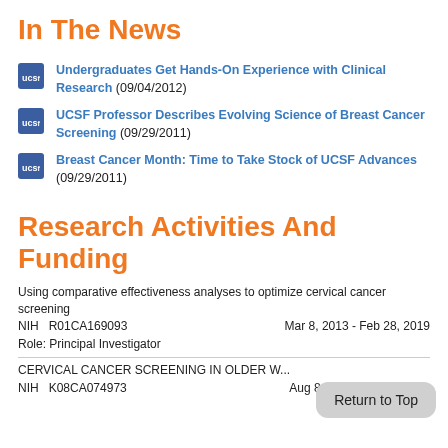In The News
Undergraduates Get Hands-On Experience with Clinical Research (09/04/2012)
UCSF Professor Describes Evolving Science of Breast Cancer Screening (09/29/2011)
Breast Cancer Month: Time to Take Stock of UCSF Advances (09/29/2011)
Research Activities And Funding
Using comparative effectiveness analyses to optimize cervical cancer screening
NIH   R01CA169093	Mar 8, 2013 - Feb 28, 2019
Role: Principal Investigator
CERVICAL CANCER SCREENING IN OLDER W...
NIH   K08CA074973	Aug 8, 1997 - Jul 31, 2002